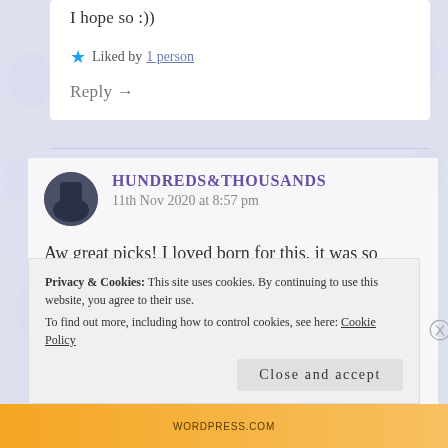I hope so :))
★ Liked by 1 person
Reply →
HUNDREDS&THOUSANDS
11th Nov 2020 at 8:57 pm
Aw great picks! I loved born for this, it was so beautiful, and I've always wanted to read the falling in love montage (it looks brilliant ha). It's brilliant
Privacy & Cookies: This site uses cookies. By continuing to use this website, you agree to their use.
To find out more, including how to control cookies, see here: Cookie Policy
Close and accept